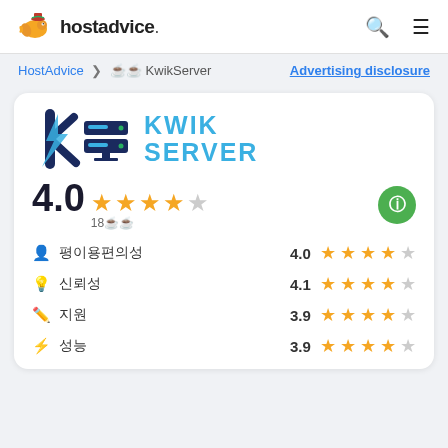[Figure (logo): HostAdvice logo with fish mascot and bold text 'hostadvice.']
HostAdvice > 🔍 KwikServer   Advertising disclosure
[Figure (logo): KwikServer logo with lightning bolt K and server icon in blue]
4.0 ★★★★☆ 18 reviews
| Category | Score | Stars |
| --- | --- | --- |
| 사용편의성 | 4.0 | ★★★★☆ |
| 신뢰성 | 4.1 | ★★★★☆ |
| 지원 | 3.9 | ★★★★☆ |
| 성능 | 3.9 | ★★★★☆ |